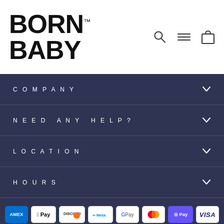[Figure (logo): BORN BABY logo in large bold black text with TM superscript]
[Figure (screenshot): Navigation icons: search magnifier, hamburger menu, shopping bag]
COMPANY
NEED ANY HELP?
LOCATION
HOURS
[Figure (infographic): Payment method badges: American Express, Apple Pay, Discover, Meta Pay, Google Pay, Mastercard, Shop Pay, Visa]
© 2022 born baby | we respect your privacy